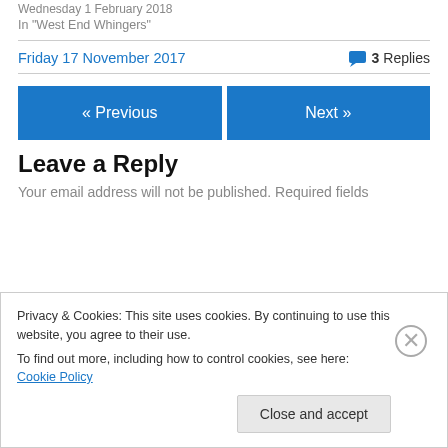Wednesday 1 February 2018
In "West End Whingers"
Friday 17 November 2017
3 Replies
« Previous
Next »
Leave a Reply
Your email address will not be published. Required fields
Privacy & Cookies: This site uses cookies. By continuing to use this website, you agree to their use. To find out more, including how to control cookies, see here: Cookie Policy
Close and accept